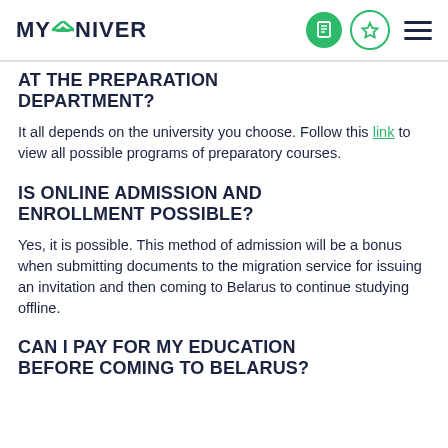MYUNIVER
AT THE PREPARATION DEPARTMENT?
It all depends on the university you choose. Follow this link to view all possible programs of preparatory courses.
IS ONLINE ADMISSION AND ENROLLMENT POSSIBLE?
Yes, it is possible. This method of admission will be a bonus when submitting documents to the migration service for issuing an invitation and then coming to Belarus to continue studying offline.
CAN I PAY FOR MY EDUCATION BEFORE COMING TO BELARUS?